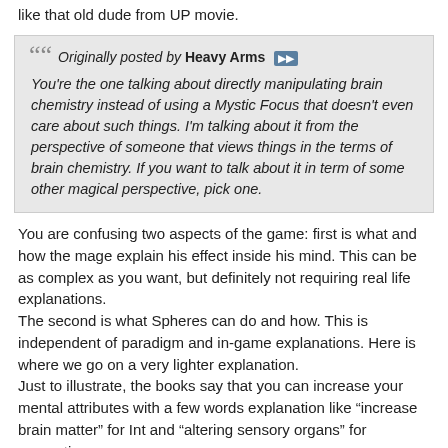like that old dude from UP movie.
Originally posted by Heavy Arms
You're the one talking about directly manipulating brain chemistry instead of using a Mystic Focus that doesn't even care about such things. I'm talking about it from the perspective of someone that views things in the terms of brain chemistry. If you want to talk about it in term of some other magical perspective, pick one.
You are confusing two aspects of the game: first is what and how the mage explain his effect inside his mind. This can be as complex as you want, but definitely not requiring real life explanations.
The second is what Spheres can do and how. This is independent of paradigm and in-game explanations. Here is where we go on a very lighter explanation.
Just to illustrate, the books say that you can increase your mental attributes with a few words explanation like “increase brain matter” for Int and “altering sensory organs” for perception.
Will you ask how can you increase brain matter without changing your skull? Will you have a big alien-like head? The game has to ignore tose real life details or it will be impossible to play.
Note that those are not related to paradigm. Those are the effects per se.
Originally posted by Heavy Arms
Sure. That's what the Mind Sphere is for.